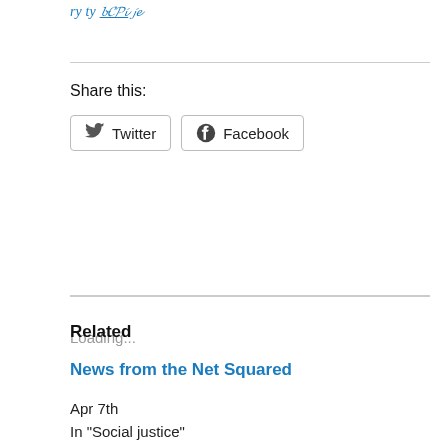Share this:
Twitter
Facebook
Loading...
Related
News from the Net Squared
Apr 7th
In "Social justice"